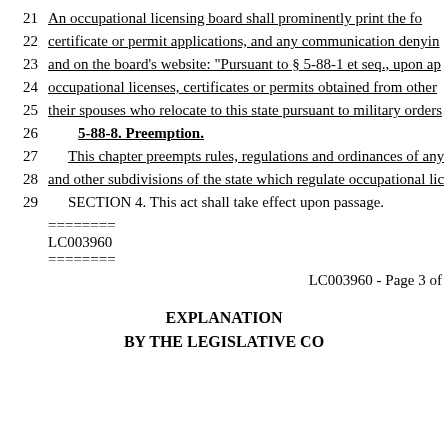21   An occupational licensing board shall prominently print the fo
22   certificate or permit applications, and any communication denyin
23   and on the board's website: "Pursuant to § 5-88-1 et seq., upon ap
24   occupational licenses, certificates or permits obtained from other
25   their spouses who relocate to this state pursuant to military orders
26   5-88-8. Preemption.
27   This chapter preempts rules, regulations and ordinances of any
28   and other subdivisions of the state which regulate occupational lic
29   SECTION 4. This act shall take effect upon passage.
========
LC003960
========
LC003960 - Page 3 of
EXPLANATION
BY THE LEGISLATIVE CO